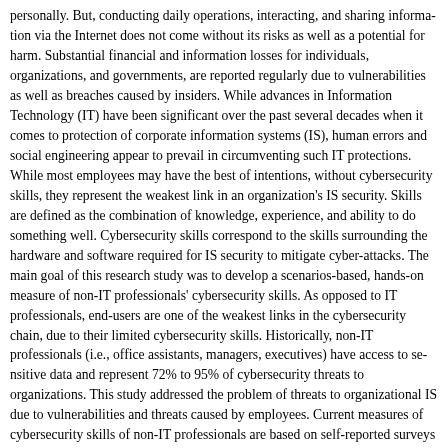personally. But, conducting daily operations, interacting, and sharing information via the Internet does not come without its risks as well as a potential for harm. Substantial financial and information losses for individuals, organizations, and governments, are reported regularly due to vulnerabilities as well as breaches caused by insiders. While advances in Information Technology (IT) have been significant over the past several decades when it comes to protection of corporate information systems (IS), human errors and social engineering appear to prevail in circumventing such IT protections. While most employees may have the best of intentions, without cybersecurity skills, they represent the weakest link in an organization's IS security. Skills are defined as the combination of knowledge, experience, and ability to do something well. Cybersecurity skills correspond to the skills surrounding the hardware and software required for IS security to mitigate cyber-attacks. The main goal of this research study was to develop a scenarios-based, hands-on measure of non-IT professionals' cybersecurity skills. As opposed to IT professionals, end-users are one of the weakest links in the cybersecurity chain, due to their limited cybersecurity skills. Historically, non-IT professionals (i.e., office assistants, managers, executives) have access to sensitive data and represent 72% to 95% of cybersecurity threats to organizations. This study addressed the problem of threats to organizational IS due to vulnerabilities and threats caused by employees. Current measures of cybersecurity skills of non-IT professionals are based on self-reported surveys and were found inaccurate. Prior IS and marketing research found participants view scenarios as nonintrusive and unintimidating. Therefore, this research study utilized scenarios with observable hands-on tasks to measure and quantify cybersecurity skills of non-IT professionals. This study is developmental research with a sequential-exploratory approach to combine qualitative and quantitative data collection. To ensure validity and reliability of the Cybersecurity